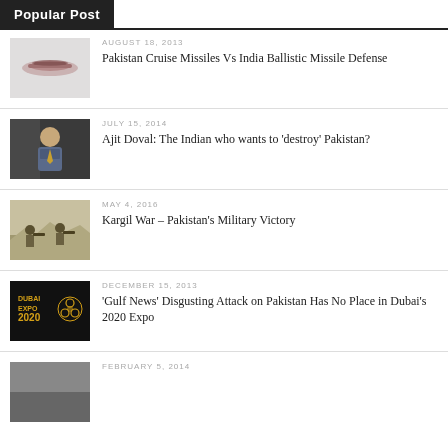Popular Post
AUGUST 18, 2013 — Pakistan Cruise Missiles Vs India Ballistic Missile Defense
JULY 15, 2014 — Ajit Doval: The Indian who wants to 'destroy' Pakistan?
MAY 4, 2016 — Kargil War – Pakistan's Military Victory
DECEMBER 15, 2013 — 'Gulf News' Disgusting Attack on Pakistan Has No Place in Dubai's 2020 Expo
FEBRUARY 5, 2014